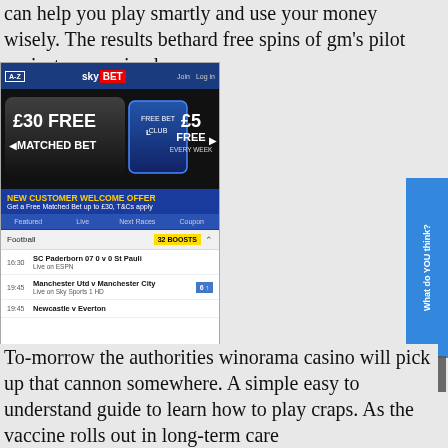can help you play smartly and use your money wisely. The results bethard free spins of gm's pilot project were mixed.
[Figure (screenshot): Sky Bet mobile website screenshot showing £30 Free Matched Bet and £5 Free Every Week welcome offer, football section with 32 boosts, match listings including SC Paderborn 07 0 v 0 St Pauli (16:30, Live on ESPN), Manchester Utd v Manchester City (19:45, Live on Sky Sports 1 HD), and Newcastle v Everton (19:45)]
To-morrow the authorities winorama casino will pick up that cannon somewhere. A simple easy to understand guide to learn how to play craps. As the vaccine rolls out in long-term care